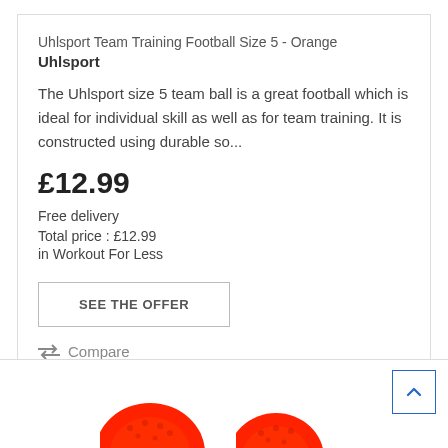Uhlsport Team Training Football Size 5 - Orange
Uhlsport
The Uhlsport size 5 team ball is a great football which is ideal for individual skill as well as for team training. It is constructed using durable so...
£12.99
Free delivery
Total price : £12.99
in Workout For Less
SEE THE OFFER
Compare
[Figure (photo): Two orange Uhlsport footballs partially visible at the bottom of the page]